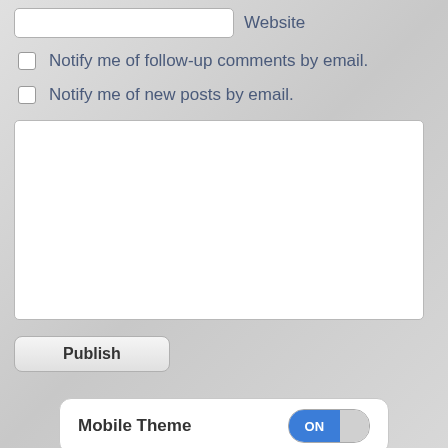Website
Notify me of follow-up comments by email.
Notify me of new posts by email.
Mobile Theme ON
All content Copyright Wiles Magazine
Powered by WordPress + WPtouch 1.9.35
WordPress Mobile Themes   View Full Site